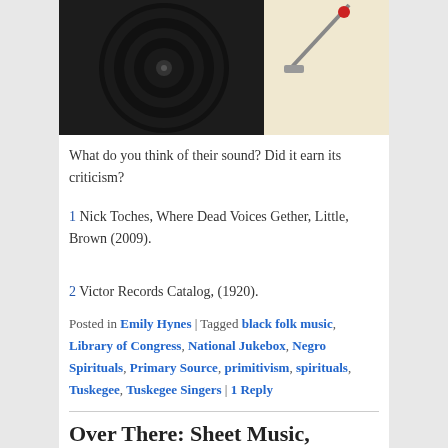[Figure (photo): Close-up of a vinyl record on a turntable with a cream/beige base visible on the right side]
What do you think of their sound? Did it earn its criticism?
1 Nick Toches, Where Dead Voices Gether, Little, Brown (2009).
2 Victor Records Catalog, (1920).
Posted in Emily Hynes | Tagged black folk music, Library of Congress, National Jukebox, Negro Spirituals, Primary Source, primitivism, spirituals, Tuskegee, Tuskegee Singers | 1 Reply
Over There: Sheet Music,